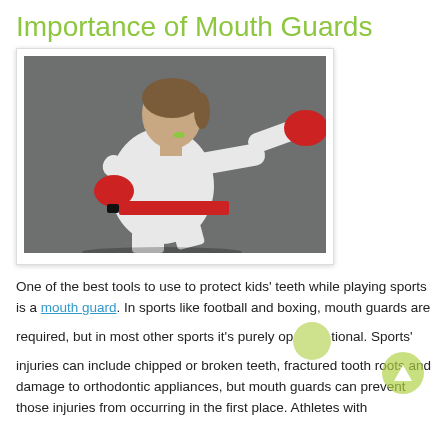Importance of Mouth Guards
[Figure (photo): A young girl in a white karate gi with a red belt and red boxing gloves, in a fighting stance punching forward, wearing a mouth guard. Dark gray background.]
One of the best tools to use to protect kids’ teeth while playing sports is a mouth guard. In sports like football and boxing, mouth guards are required, but in most other sports it’s purely optional. Sports’ injuries can include chipped or broken teeth, fractured tooth roots and damage to orthodontic appliances, but mouth guards can prevent those injuries from occurring in the first place. Athletes with